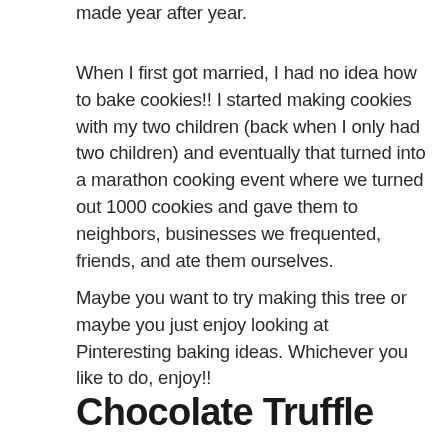made year after year.
When I first got married, I had no idea how to bake cookies!! I started making cookies with my two children (back when I only had two children) and eventually that turned into a marathon cooking event where we turned out 1000 cookies and gave them to neighbors, businesses we frequented, friends, and ate them ourselves.
Maybe you want to try making this tree or maybe you just enjoy looking at Pinteresting baking ideas. Whichever you like to do, enjoy!!
Chocolate Truffle